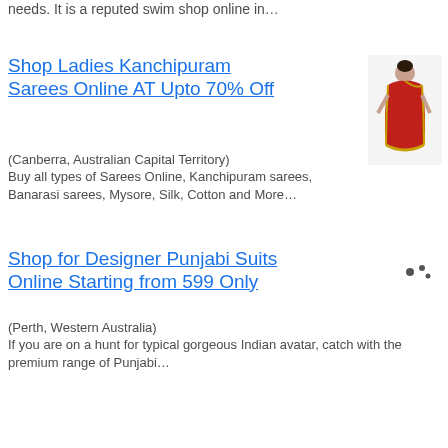needs. It is a reputed swim shop online in…
Shop Ladies Kanchipuram Sarees Online AT Upto 70% Off
(Canberra, Australian Capital Territory)
Buy all types of Sarees Online, Kanchipuram sarees, Banarasi sarees, Mysore, Silk, Cotton and More…
[Figure (photo): Woman wearing a red and gold Kanchipuram saree]
Shop for Designer Punjabi Suits Online Starting from 599 Only
[Figure (photo): Small decorative icon next to Punjabi suits listing]
(Perth, Western Australia)
If you are on a hunt for typical gorgeous Indian avatar, catch with the premium range of Punjabi…